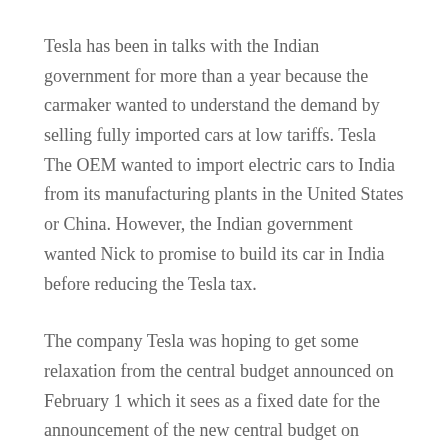Tesla has been in talks with the Indian government for more than a year because the carmaker wanted to understand the demand by selling fully imported cars at low tariffs. Tesla The OEM wanted to import electric cars to India from its manufacturing plants in the United States or China. However, the Indian government wanted Nick to promise to build its car in India before reducing the Tesla tax.
The company Tesla was hoping to get some relaxation from the central budget announced on February 1 which it sees as a fixed date for the announcement of the new central budget on February 1, however, when there was no tax exemption on the card, Tesla postponed its India plan. The U.S. electric car maker sought land to open dealerships and service centers in cities such as Delhi, Bangalore and Mumbai before selling its electric...